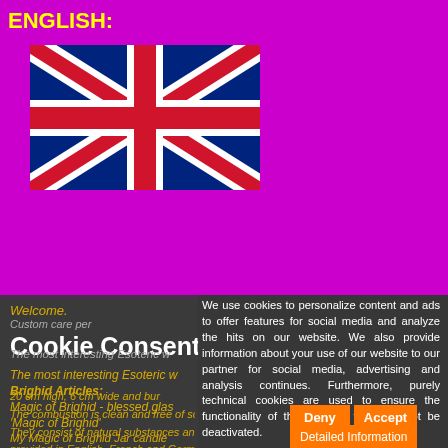ENGLISH:
[Figure (illustration): Union Jack (United Kingdom flag) — blue background with white and red diagonal and cross stripes]
Welcome.
Cookie Consent
The most interesting Esoteric w...
Brighid Articles:
Magic of Brighid - blessed glas...
'Magic of Brighid'
My Magic of Brighid Jar candle...
20 cm high, 6 cm wide and bur...
The combustion is clean and free of soot
They consist of natural substances and with i...
provided in English, French and German
We use cookies to personalize content and ads to offer features for social media and analyze the hits on our website. We also provide information about your use of our website to our partner for social media, advertising and analysis continues. Furthermore, purely technical cookies are used to ensure the functionality of the website, these cannot be deactivated.
Deny
Accept
Detailed Information